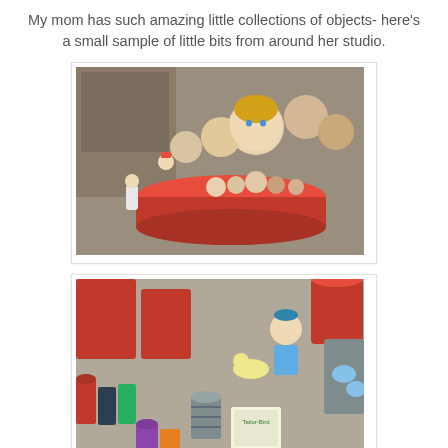My mom has such amazing little collections of objects- here's a small sample of little bits from around her studio.
[Figure (photo): A collection of vintage miniature dolls and figurines arranged in and around a red bowl, with a mirror visible in the background showing more figures.]
[Figure (photo): A cluttered shelf of sewing supplies including spools of thread in various colors, vintage thread boxes including a 'Tailor-Bird' brand box, and a ceramic figurine of a character in blue overalls alongside a small dinosaur figurine.]